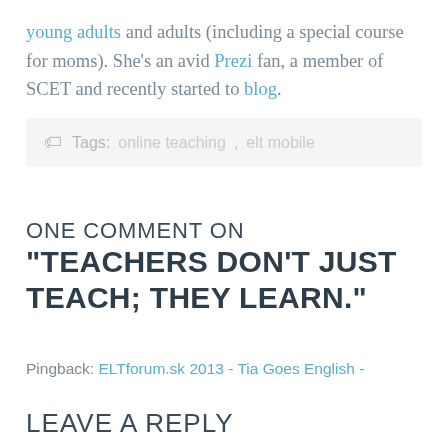young adults and adults (including a special course for moms). She's an avid Prezi fan, a member of SCET and recently started to blog.
Tags: [tag link], [tag link]
ONE COMMENT ON "TEACHERS DON'T JUST TEACH; THEY LEARN."
Pingback: ELTforum.sk 2013 - Tia Goes English -
LEAVE A REPLY